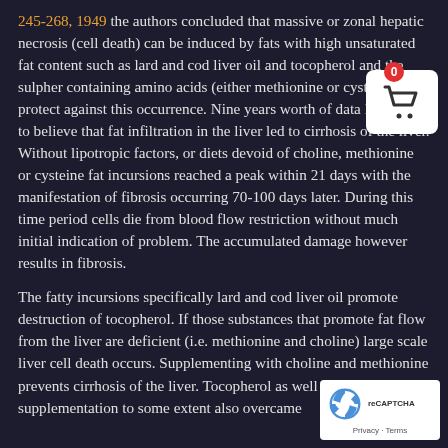245-268, 1949 the authors concluded that massive or zonal hepatic necrosis (cell death) can be induced by fats with high unsaturated fat content such as lard and cod liver oil and tocopherol and the sulpher containing amino acids (either methionine or cysteine) can protect against this occurrence. Nine years worth of data led them to believe that fat infiltration in the liver led to cirrhosis of the liver. Without lipotropic factors, or diets devoid of choline, methionine or cysteine fat incursions reached a peak within 21 days with the manifestation of fibrosis occurring 70-100 days later. During this time period cells die from blood flow restriction without much initial indication of problem. The accumulated damage however results in fibrosis.
The fatty incursions specifically lard and cod liver oil promote destruction of tocopherol. If those substances that promote fat flow from the liver are deficient (i.e. methionine and choline) large scale liver cell death occurs. Supplementing with choline and methionine prevents cirrhosis of the liver. Tocopherol as well as cysteine supplementation to some extent also overcame